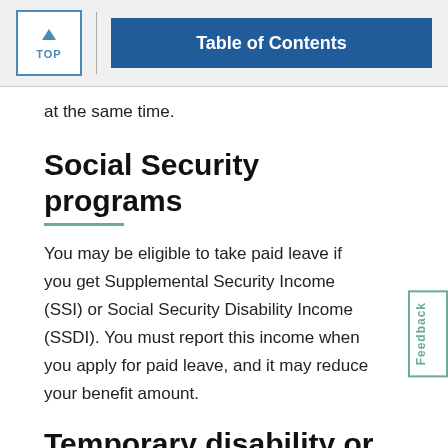TOP | Table of Contents
at the same time.
Social Security programs
You may be eligible to take paid leave if you get Supplemental Security Income (SSI) or Social Security Disability Income (SSDI). You must report this income when you apply for paid leave, and it may reduce your benefit amount.
Temporary disability or paid family and medical leave